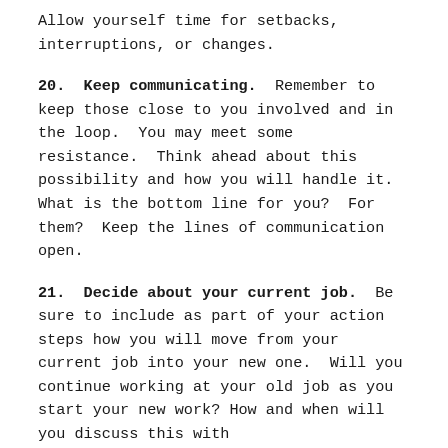Allow yourself time for setbacks, interruptions, or changes.
20. Keep communicating. Remember to keep those close to you involved and in the loop. You may meet some resistance. Think ahead about this possibility and how you will handle it. What is the bottom line for you? For them? Keep the lines of communication open.
21. Decide about your current job. Be sure to include as part of your action steps how you will move from your current job into your new one. Will you continue working at your old job as you start your new work? How and when will you discuss this with